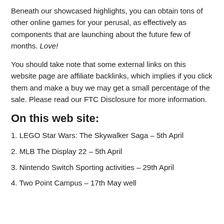Beneath our showcased highlights, you can obtain tons of other online games for your perusal, as effectively as components that are launching about the future few of months. Love!
You should take note that some external links on this website page are affiliate backlinks, which implies if you click them and make a buy we may get a small percentage of the sale. Please read our FTC Disclosure for more information.
On this web site:
1. LEGO Star Wars: The Skywalker Saga – 5th April
2. MLB The Display 22 – 5th April
3. Nintendo Switch Sporting activities – 29th April
4. Two Point Campus – 17th May well